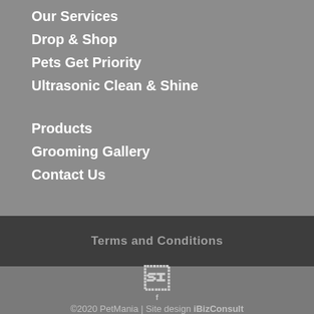Our Services
Drop & Shop
Pets Get Priority
Ultrasonic Clean & Shine
Products
Grooming Gallery
Contact Us
Terms and Conditions
©2020 PetMania | Site design iBizConsult